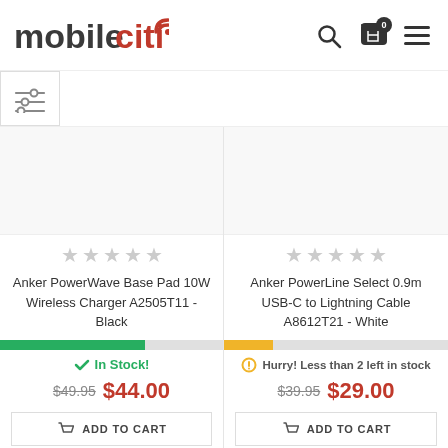[Figure (logo): mobileciti logo with red wifi signal icon]
[Figure (other): Search icon, shopping cart with 0 badge, hamburger menu icon]
[Figure (other): Filter/sliders icon button]
[Figure (other): Product image placeholder for Anker PowerWave Base Pad]
★★★★★
Anker PowerWave Base Pad 10W Wireless Charger A2505T11 - Black
[Figure (other): Stock level progress bar - green, mostly full]
✓ In Stock!
$49.95 $44.00
ADD TO CART
[Figure (other): Product image placeholder for Anker PowerLine Select 0.9m USB-C to Lightning Cable]
★★★★★
Anker PowerLine Select 0.9m USB-C to Lightning Cable A8612T21 - White
[Figure (other): Stock level progress bar - yellow, partially full]
⏱ Hurry! Less than 2 left in stock
$39.95 $29.00
ADD TO CART